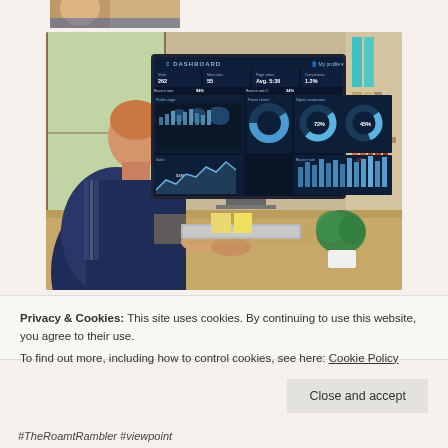[Figure (photo): Small partial photo of a person at the top of the page, cropped]
[Figure (photo): Person sitting at a desk working on a computer with a dashboard analytics interface displayed on the monitor, office setting with sticky notes, keyboard, plant, and binders visible]
Privacy & Cookies: This site uses cookies. By continuing to use this website, you agree to their use.
To find out more, including how to control cookies, see here: Cookie Policy
Close and accept
#TheRoamtRambler #viewpoint